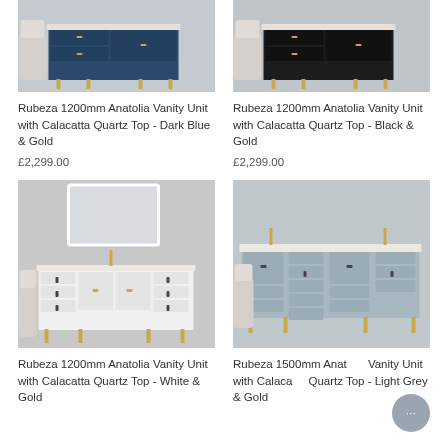[Figure (photo): Rubeza 1200mm Anatolia Vanity Unit in Dark Blue and Gold finish with Calacatta Quartz top, photographed in bathroom setting]
[Figure (photo): Rubeza 1200mm Anatolia Vanity Unit in Black and Gold finish with Calacatta Quartz top, photographed in bathroom setting]
Rubeza 1200mm Anatolia Vanity Unit with Calacatta Quartz Top - Dark Blue & Gold
£2,299.00
Rubeza 1200mm Anatolia Vanity Unit with Calacatta Quartz Top - Black & Gold
£2,299.00
[Figure (photo): Rubeza 1200mm Anatolia Vanity Unit in White and Gold finish with Calacatta Quartz top and mirror, photographed in bathroom setting]
[Figure (photo): Rubeza 1500mm Anatolia Vanity Unit in Light Grey and Gold finish with Calacatta Quartz top, photographed in bathroom setting]
Rubeza 1200mm Anatolia Vanity Unit with Calacatta Quartz Top - White & Gold
Rubeza 1500mm Anatolia Vanity Unit with Calacatta Quartz Top - Light Grey & Gold